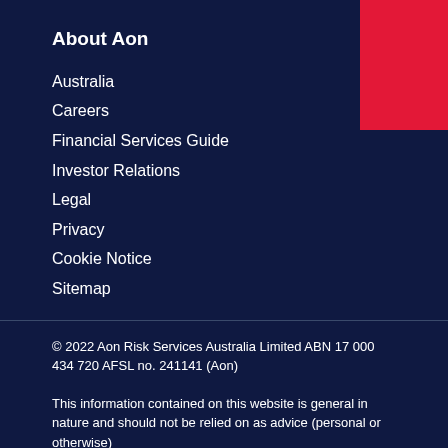About Aon
Australia
Careers
Financial Services Guide
Investor Relations
Legal
Privacy
Cookie Notice
Sitemap
© 2022 Aon Risk Services Australia Limited ABN 17 000 434 720 AFSL no. 241141 (Aon)
This information contained on this website is general in nature and should not be relied on as advice (personal or otherwise)